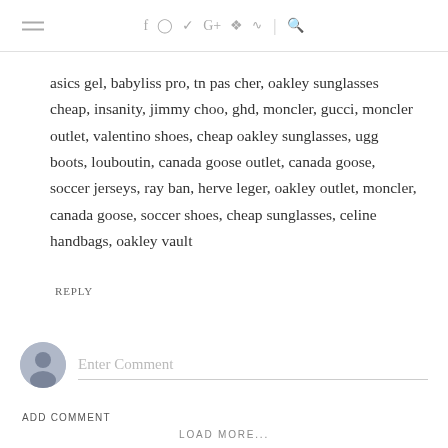hamburger menu | facebook instagram twitter google+ pinterest rss | search
asics gel, babyliss pro, tn pas cher, oakley sunglasses cheap, insanity, jimmy choo, ghd, moncler, gucci, moncler outlet, valentino shoes, cheap oakley sunglasses, ugg boots, louboutin, canada goose outlet, canada goose, soccer jerseys, ray ban, herve leger, oakley outlet, moncler, canada goose, soccer shoes, cheap sunglasses, celine handbags, oakley vault
REPLY
Enter Comment
ADD COMMENT
LOAD MORE...